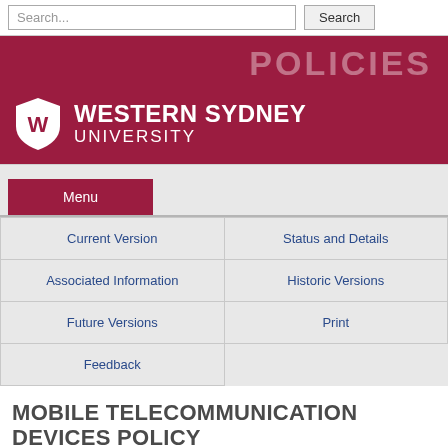Search... Search
[Figure (logo): Western Sydney University logo with shield and POLICIES text on dark red banner]
Menu
| Current Version | Status and Details |
| Associated Information | Historic Versions |
| Future Versions | Print |
| Feedback |  |
MOBILE TELECOMMUNICATION DEVICES POLICY